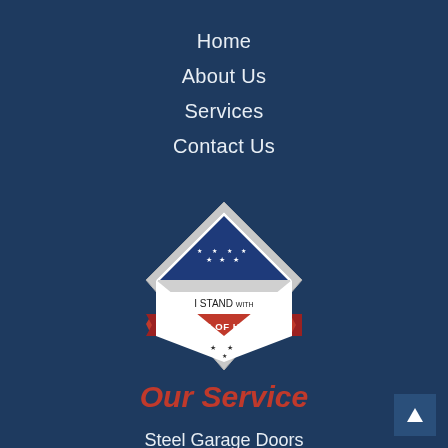Home
About Us
Services
Contact Us
[Figure (logo): I Stand With Folds of Honor diamond-shaped badge/logo with American flag at top, blue and silver border, red ribbon banner with white text reading FOLDS OF HONOR, stars at bottom]
Our Service
Steel Garage Doors
Wood Garage Doors